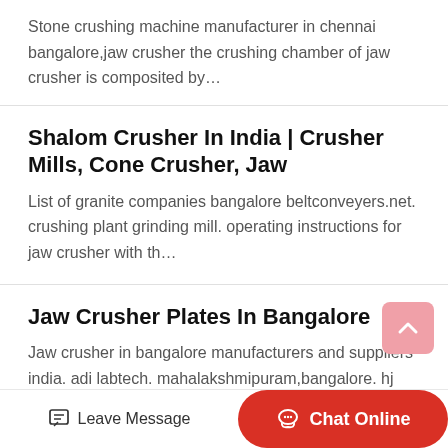Stone crushing machine manufacturer in chennai bangalore,jaw crusher the crushing chamber of jaw crusher is composited by…
Shalom Crusher In India | Crusher Mills, Cone Crusher, Jaw
List of granite companies bangalore beltconveyers.net. crushing plant grinding mill. operating instructions for jaw crusher with th…
Jaw Crusher Plates In Bangalore
Jaw crusher in bangalore manufacturers and suppliers india. adi labtech. mahalakshmipuram,bangalore. hj jaw crusher. get price…
Slag Crushing | The Standard Slag Recycling
The standard jaw crusher was specially designed for the slag recycling industry. it has the unique patenteddraulicleasemechanism
Leave Message   Chat Online